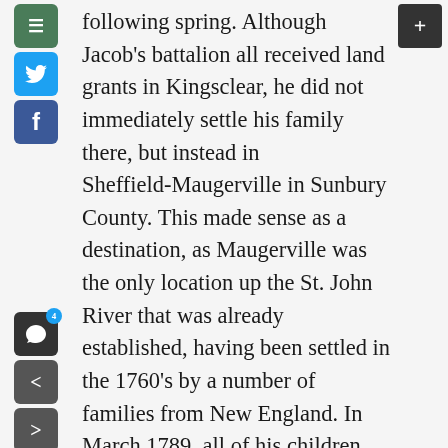following spring. Although Jacob's battalion all received land grants in Kingsclear, he did not immediately settle his family there, but instead in Sheffield-Maugerville in Sunbury County. This made sense as a destination, as Maugerville was the only location up the St. John River that was already established, having been settled in the 1760's by a number of families from New England. In March 1789, all of his children, from twenty-three year old John to Elizabeth (Betsey), who was not yet two, were baptized at the Maugerville Anglican Church. Two years later, their youngest daughter Hannah, born in the summer of 1789, was baptized with two of Jacob's grandchildren. After several years Jacob bought land in Kingsclear in the county of Col. James Allen. Col.